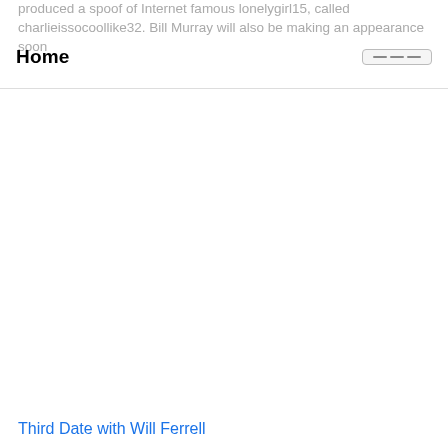produced a spoof of Internet famous lonelygirl15, called charlieissocoollike32. Bill Murray will also be making an appearance soon
Home
Third Date with Will Ferrell